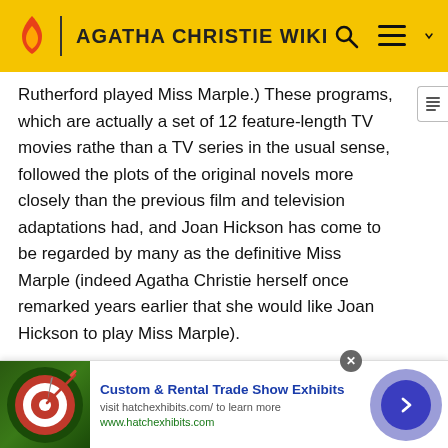AGATHA CHRISTIE WIKI
Rutherford played Miss Marple.) These programs, which are actually a set of 12 feature-length TV movies rather than a TV series in the usual sense, followed the plots of the original novels more closely than the previous film and television adaptations had, and Joan Hickson has come to be regarded by many as the definitive Miss Marple (indeed Agatha Christie herself once remarked years earlier that she would like Joan Hickson to play Miss Marple).
Angela Lansbury, after playing Miss Marple in The Mirror Crack'd, went on to star in the TV series Murder, She
[Figure (other): Advertisement banner: Custom & Rental Trade Show Exhibits, visit hatchexhibits.com/ to learn more, www.hatchexhibits.com, with a dartboard image on left and navigation arrow on right]